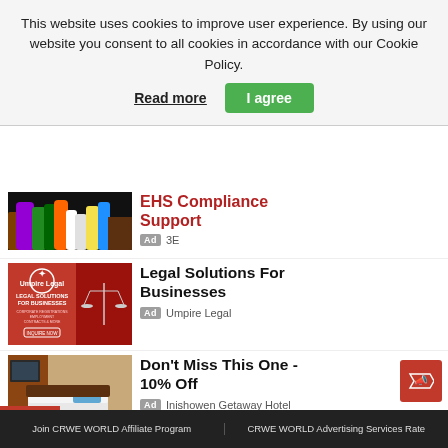This website uses cookies to improve user experience. By using our website you consent to all cookies in accordance with our Cookie Policy.
Read more
I agree
[Figure (photo): Partial view of colorful cleaning spray bottles on a dark background]
EHS Compliance Support
Ad 3E
[Figure (photo): Red background ad for Umpire Legal showing legal solutions for businesses with scales of justice]
Legal Solutions For Businesses
Ad Umpire Legal
[Figure (photo): Hotel room with red carpet and bed with blue pillow]
Don't Miss This One - 10% Off
Ad Inishowen Getaway Hotel
Join CRWE WORLD Affiliate Program | CRWE WORLD Advertising Services Rate